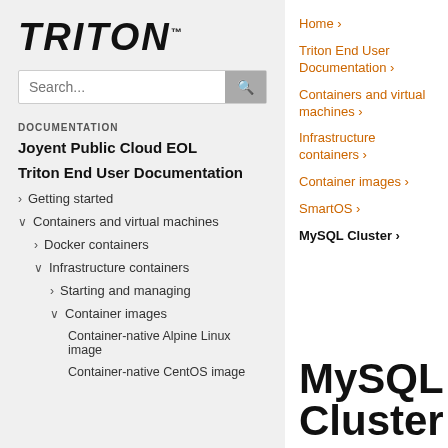[Figure (logo): Triton logo in bold italic uppercase letters]
Search...
DOCUMENTATION
Joyent Public Cloud EOL
Triton End User Documentation
Getting started
Containers and virtual machines
Docker containers
Infrastructure containers
Starting and managing
Container images
Container-native Alpine Linux image
Container-native CentOS image
Home ›
Triton End User Documentation ›
Containers and virtual machines ›
Infrastructure containers ›
Container images ›
SmartOS ›
MySQL Cluster ›
MySQL Cluster